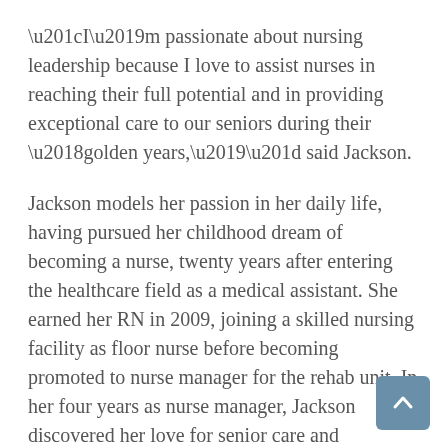“I’m passionate about nursing leadership because I love to assist nurses in reaching their full potential and in providing exceptional care to our seniors during their ‘golden years,’” said Jackson.
Jackson models her passion in her daily life, having pursued her childhood dream of becoming a nurse, twenty years after entering the healthcare field as a medical assistant. She earned her RN in 2009, joining a skilled nursing facility as floor nurse before becoming promoted to nurse manager for the rehab unit. In her four years as nurse manager, Jackson discovered her love for senior care and continued to advance her career accepting a role as health and wellness director of a large assisted living facility.
In her new role, Jackson will uphold Watercrest’s Platinum Standards of exceptional care